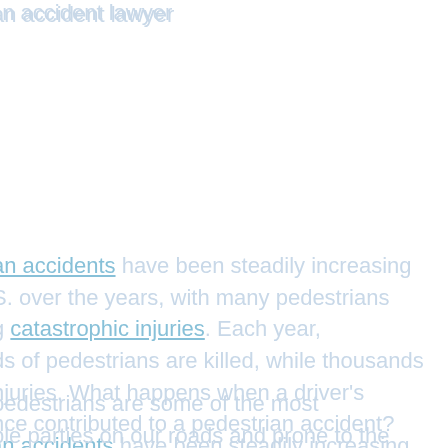an accident lawyer
an accidents have been steadily increasing S. over the years, with many pedestrians g catastrophic injuries. Each year, ds of pedestrians are killed, while thousands njuries. What happens when a driver's nce contributed to a pedestrian accident?
pedestrians are some of the most ble parties on our roads and prone to the